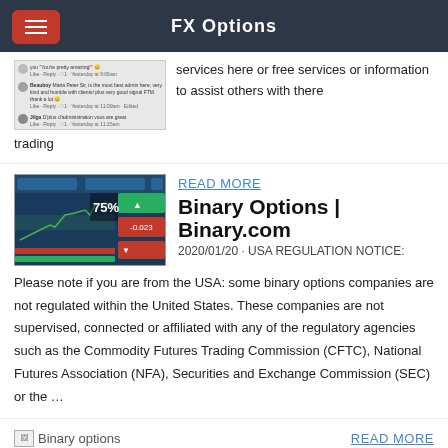FX Options
[Figure (screenshot): Facebook comment thread screenshot showing user comments about trading signals]
services here or free services or information to assist others with there trading
[Figure (screenshot): Binary.com trading platform screenshot showing chart with 75% indicator]
READ MORE
Binary Options | Binary.com
2020/01/20 · USA REGULATION NOTICE:
Please note if you are from the USA: some binary options companies are not regulated within the United States. These companies are not supervised, connected or affiliated with any of the regulatory agencies such as the Commodity Futures Trading Commission (CFTC), National Futures Association (NFA), Securities and Exchange Commission (SEC) or the …
[Figure (screenshot): Broken image icon labeled Binary options]
READ MORE